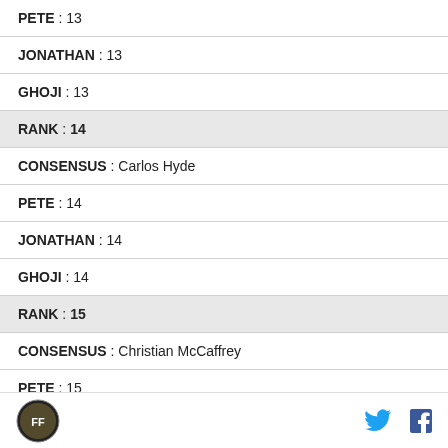| PETE : 13 |
| JONATHAN : 13 |
| GHOJI : 13 |
| RANK : 14 |
| CONSENSUS : Carlos Hyde |
| PETE : 14 |
| JONATHAN : 14 |
| GHOJI : 14 |
| RANK : 15 |
| CONSENSUS : Christian McCaffrey |
| PETE : 15 |
Logo | Twitter | Facebook